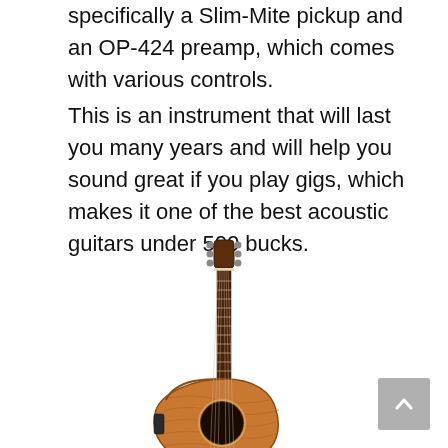specifically a Slim-Mite pickup and an OP-424 preamp, which comes with various controls.
This is an instrument that will last you many years and will help you sound great if you play gigs, which makes it one of the best acoustic guitars under 500 bucks.
[Figure (photo): An acoustic-electric guitar with a cutaway body, flame maple top, dark sound hole, and tuning pegs visible at the headstock. The guitar is shown upright against a white background.]